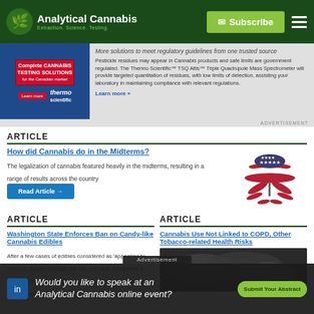Analytical Cannabis — Extraction. Science. Testing. | Subscribe
[Figure (screenshot): Thermo Scientific cannabis testing solutions advertisement for the Canadian market, with lab imagery]
More solutions to meet regulatory guidelines from one trusted source
Pesticide residues may appear in Cannabis products and safe limits are government regulated. The Thermo Scientific™ TSQ Altis™ Triple Quadrupole Mass Spectrometer will provide targeted quantitation of residues, with low limits of detection, assisting your laboratory in maintaining compliance with relevant regulations.
Learn more »
ARTICLE
How did Cannabis do in the Midterms?
The legalization of cannabis featured heavily in the midterms, resulting in a range of results across the country
[Figure (illustration): Cannabis leaf styled with American flag colors — red, white and blue]
ARTICLE
Washington State Enforces Ban on Candy-like Cannabis Edibles
After a few cases of edibles considered as 'appealing to children' slipped through the net, the state has forced a review of what is appropriate, causing frustration and alarm amongst local companies.
ARTICLE
Cannabis Use Not Linked to COPD, Other Tobacco-related Health Risks
[Figure (photo): Dark smoke/cannabis-related imagery]
Advertisement
Would you like to speak at an Analytical Cannabis online event?